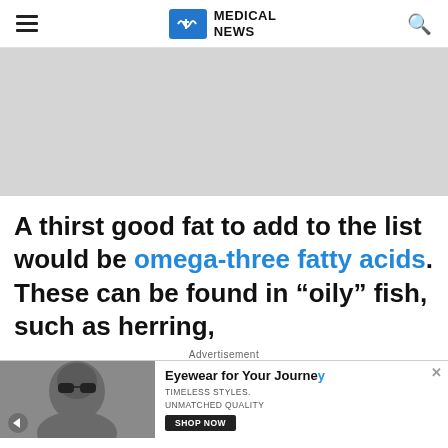MEDICAL NEWS
[Figure (other): Gray advertisement banner placeholder]
A thirst good fat to add to the list would be omega-three fatty acids. These can be found in "oily" fish, such as herring,
Advertisement
[Figure (photo): Advertisement banner: Man wearing sunglasses. Eyewear for Your Journey. Timeless Styles. Unmatched Quality. Shop Now.]